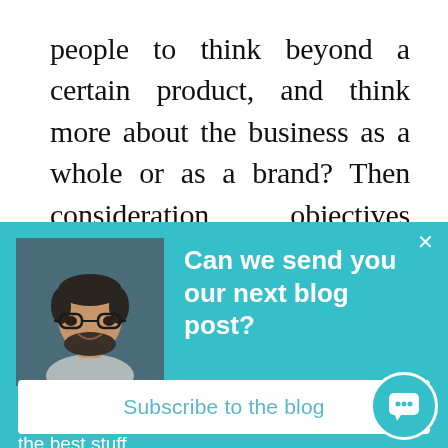people to think beyond a certain product, and think more about the business as a whole or as a brand? Then consideration objectives should be your goal. But whatever you select...make sure it lines up naturally to what your
[Figure (screenshot): Popup overlay with teal background showing a man's photo, heading 'Can we send you our next blog post?', body text 'We'll send you about 3-4 emails a month. Only the best stuff.', and a white Subscribe to the blog button. Has an X close button and a chat bubble icon.]